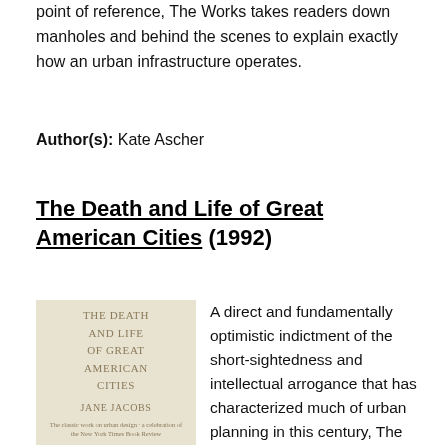point of reference, The Works takes readers down manholes and behind the scenes to explain exactly how an urban infrastructure operates.
Author(s): Kate Ascher
The Death and Life of Great American Cities (1992)
[Figure (illustration): Book cover of 'The Death and Life of Great American Cities' by Jane Jacobs. Cream/beige background with serif text listing the title and author name.]
A direct and fundamentally optimistic indictment of the short-sightedness and intellectual arrogance that has characterized much of urban planning in this century, The Death and Life of Great American Cities has, since its first publication in 1961, become